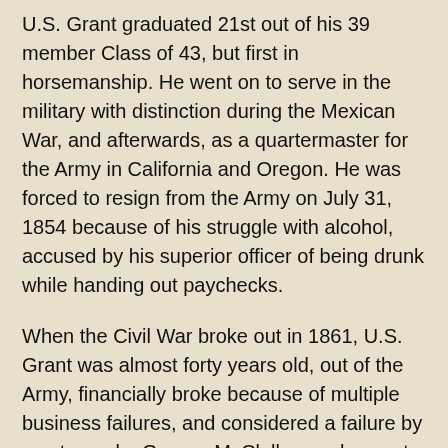U.S. Grant graduated 21st out of his 39 member Class of 43, but first in horsemanship. He went on to serve in the military with distinction during the Mexican War, and afterwards, as a quartermaster for the Army in California and Oregon. He was forced to resign from the Army on July 31, 1854 because of his struggle with alcohol, accused by his superior officer of being drunk while handing out paychecks.
When the Civil War broke out in 1861, U.S. Grant was almost forty years old, out of the Army, financially broke because of multiple business failures, and considered a failure by most people. George McClellan, a classmate at West Point, refused to meet with Grant to discuss a possible readmission into the Army when the Civil War began. U.S. Grant's life as a soldier was over.
Dejected and depressed, U.S. Grant went back to farming and shop keeping in Illinois. It was only when the governor of Illinois asked Grant to get into military shape a ragtag group of state volunteers - many of whom were drunkards and former prison inmates - that U.S. Grant got back into the War. He advanced through the state militia